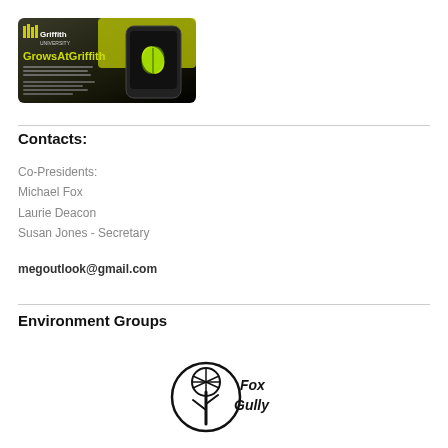[Figure (screenshot): Griffith University GrowsAtGriffith app promotional image showing a smartphone with a green plant leaf icon on a dark background]
Contacts:
Co-Presidents:
Michael Fox
Laurie Deacon
Susan Jones - Secretary
megoutlook@gmail.com
Environment Groups
[Figure (logo): Fox Gully logo: hand-drawn tree with circular border and text 'Fox Gully']